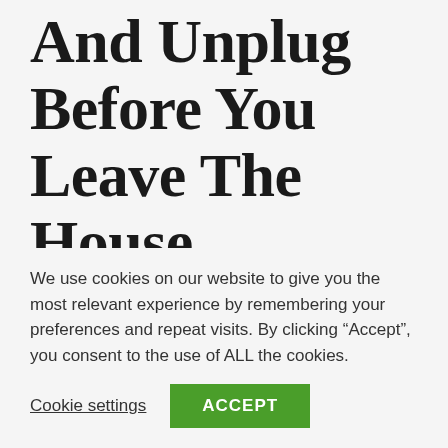And Unplug Before You Leave The House
Do you leave your TV on longer than you’re in the living room? Or perhaps your fan is running even though you’re in another room? Do you leave your devices charging for longer than they need to, or
We use cookies on our website to give you the most relevant experience by remembering your preferences and repeat visits. By clicking “Accept”, you consent to the use of ALL the cookies.
Cookie settings  ACCEPT